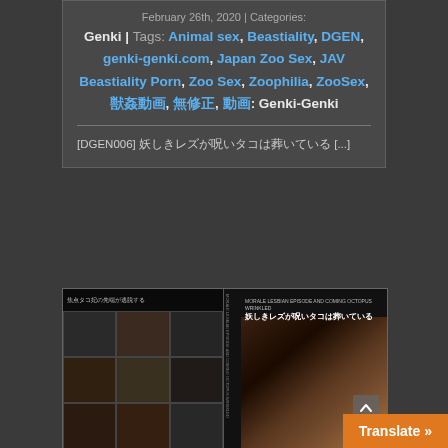February 26th, 2020 | Categories: Genki | Tags: Animal sex, Beastiality, DGEN, genki-genki.com, Japan Zoo Sex, JAV Beastiality Porn, Zoo Sex, Zoophilia, ZooSex, 獣姦動画, 無修正, 動画: Genki-Genki
[DGEN006] 妖しきレズが呪いタコは葬いている [...]
[Figure (photo): DVD cover collage image showing multiple scenes on left side and a large octopus image on the right side with Japanese text overlay]
Translate »